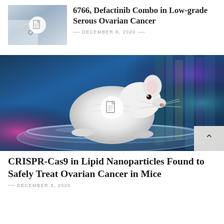[Figure (photo): Thumbnail photo of a doctor or medical professional at a desk, with a document icon overlay]
6766, Defactinib Combo in Low-grade Serous Ovarian Cancer
DECEMBER 8, 2020
[Figure (photo): Large photo of a white laboratory mouse sitting in a glass petri dish in a colorful laboratory setting, with a document icon overlay and a back-to-top arrow button]
CRISPR-Cas9 in Lipid Nanoparticles Found to Safely Treat Ovarian Cancer in Mice
DECEMBER 3, 2020